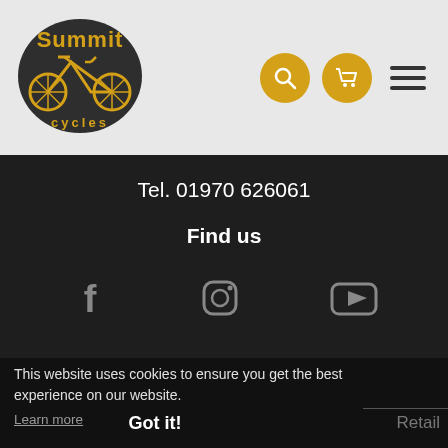[Figure (logo): Summit Cycles logo with bicycle graphic in yellow/black, text 'Summit' in large letters and 'cycles' below]
[Figure (infographic): Navigation icons: yellow circle search icon, yellow circle cart icon, black hamburger menu icon]
Tel. 01970 626061
Find us
[Figure (infographic): Three social media icons in grey: Facebook, Instagram, YouTube]
This website uses cookies to ensure you get the best experience on our website.
Learn more
Got it!
Retail